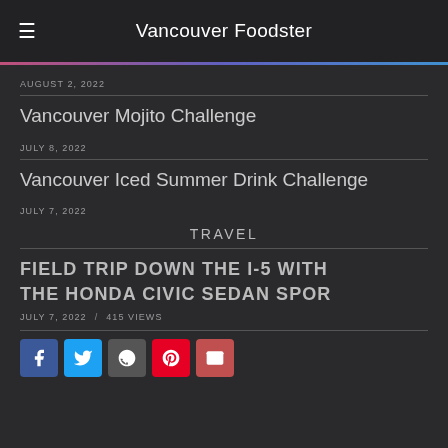Vancouver Foodster
AUGUST 2, 2022
Vancouver Mojito Challenge
JULY 8, 2022
Vancouver Iced Summer Drink Challenge
JULY 7, 2022
TRAVEL
FIELD TRIP DOWN THE I-5 WITH THE HONDA CIVIC SEDAN SPOR
JULY 7, 2022  /  415 VIEWS